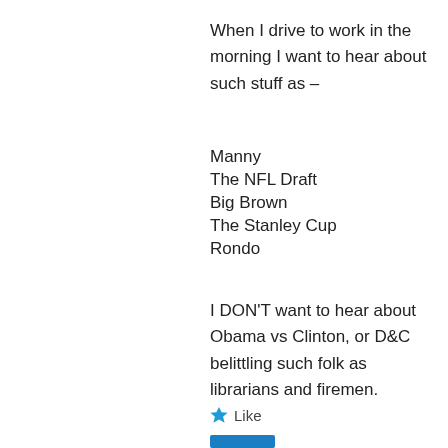When I drive to work in the morning I want to hear about such stuff as –
Manny
The NFL Draft
Big Brown
The Stanley Cup
Rondo
I DON'T want to hear about Obama vs Clinton, or D&C belittling such folk as librarians and firemen.
Like